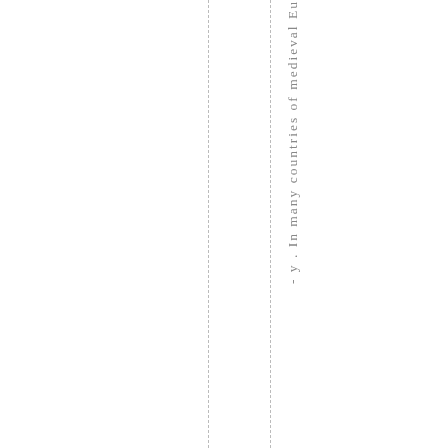- y . In many countries of medieval Eu